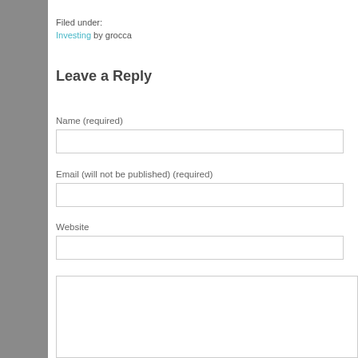Filed under:
Investing by grocca
Leave a Reply
Name (required)
Email (will not be published) (required)
Website